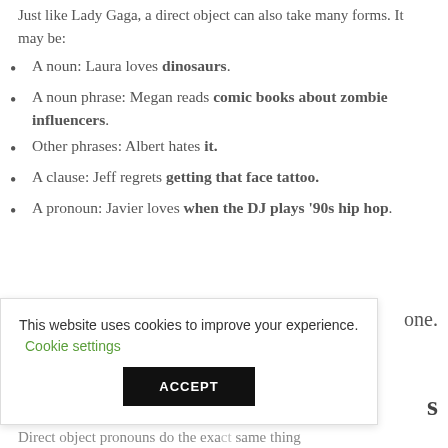Just like Lady Gaga, a direct object can also take many forms. It may be:
A noun: Laura loves dinosaurs.
A noun phrase: Megan reads comic books about zombie influencers.
Other phrases: Albert hates it.
A clause: Jeff regrets getting that face tattoo.
A pronoun: Javier loves when the DJ plays ’90s hip hop.
one.
s
Direct object pronouns do the exact same thing
This website uses cookies to improve your experience. Cookie settings ACCEPT